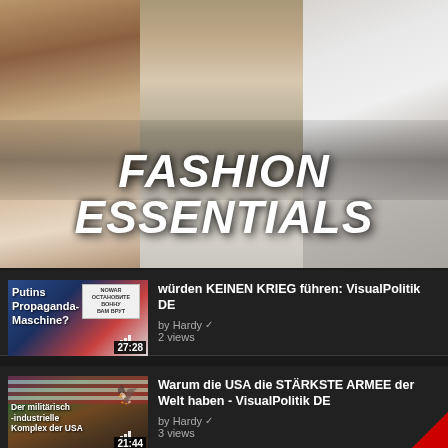[Figure (photo): Fashion collage thumbnail showing three panels with people wearing fashion items, overlaid with bold italic text 'FASHION ESSENTIALS']
[Figure (screenshot): Video list item thumbnail showing 'Putins Propaganda-Maschine?' with a NO WAR sign, duration 27:28, by Hardy, 2 views. Title text: 'würden KEINEN KRIEG führen: VisualPolitik DE']
[Figure (screenshot): Video list item thumbnail showing 'Der militärisch-industrielle Komplex der USA' with eagle and soldier, duration 21:44, by Hardy, 3 views. Title: 'Warum die USA die STÄRKSTE ARMEE der Welt haben - VisualPolitik DE']